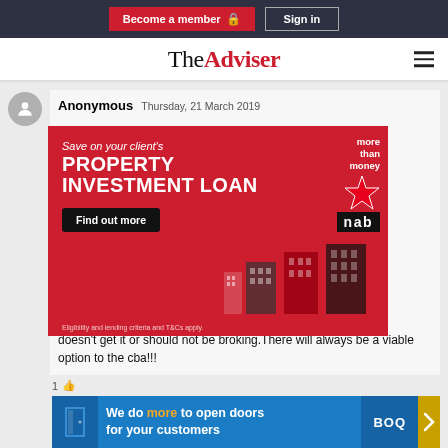Become a member | Sign in
[Figure (logo): The Adviser logo — serif 'The' with red bold 'Adviser']
Anonymous  Thursday, 21 March 2019
[Figure (advertisement): NAB Property Investment Loan advertisement — red background with 'Save on your client's PROPERTY INVESTMENT LOAN', Find out more button, more than money logo, NAB star logo, building silhouettes, eligibility and lending criteria and T&Cs apply.]
doesn't get it or should not be broking.There will always be a viable option to the cba!!!
[Figure (advertisement): BOQ bank advertisement — blue background with 'We do more to open doors for your customers' with BOQ logo]